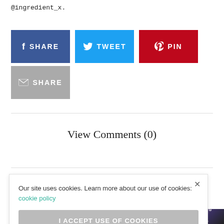@ingredient_x.
[Figure (other): Social share buttons: SHARE (Facebook, blue), TWEET (Twitter, cyan), PIN (Pinterest, red), SHARE (Email, gray)]
View Comments (0)
[Figure (other): Cookie consent popup with text 'Our site uses cookies. Learn more about our use of cookies: cookie policy' and a button 'I ACCEPT USE OF COOKIES']
[Figure (other): Partial book cover visible at bottom right, showing 'WAITING FOR THE NIGHT' text on purple/dark background]